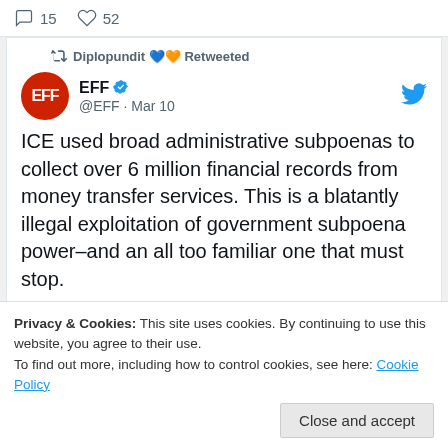15  52
Diplopundit 💙🧡 Retweeted
EFF @EFF · Mar 10
ICE used broad administrative subpoenas to collect over 6 million financial records from money transfer services. This is a blatantly illegal exploitation of government subpoena power–and an all too familiar one that must stop.
eff.org/deeplinks/2022
Privacy & Cookies: This site uses cookies. By continuing to use this website, you agree to their use.
To find out more, including how to control cookies, see here: Cookie Policy
Close and accept